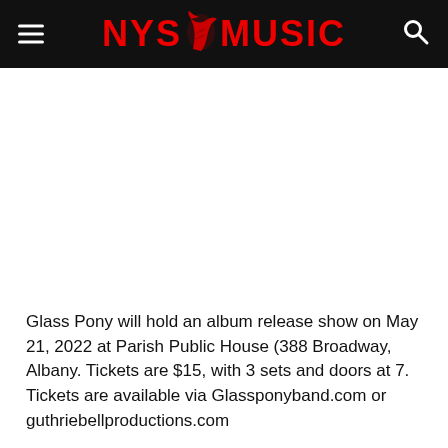NYS MUSIC
Glass Pony will hold an album release show on May 21, 2022 at Parish Public House (388 Broadway, Albany. Tickets are $15, with 3 sets and doors at 7. Tickets are available via Glassponyband.com or guthriebellproductions.com